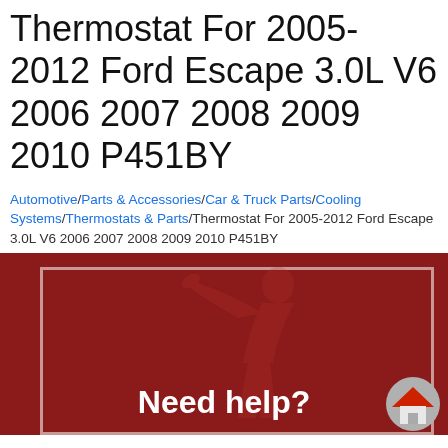Thermostat For 2005-2012 Ford Escape 3.0L V6 2006 2007 2008 2009 2010 P451BY
Automotive/Parts & Accessories/Car & Truck Parts/Cooling Systems/Thermostats & Parts/Thermostat For 2005-2012 Ford Escape 3.0L V6 2006 2007 2008 2009 2010 P451BY
[Figure (illustration): Dark red promotional banner with a faint silhouette of a mechanic/person with a wrench, a white inner border rectangle, and the text 'Need help?' in white bold font. A house/chevron icon appears in the bottom right corner.]